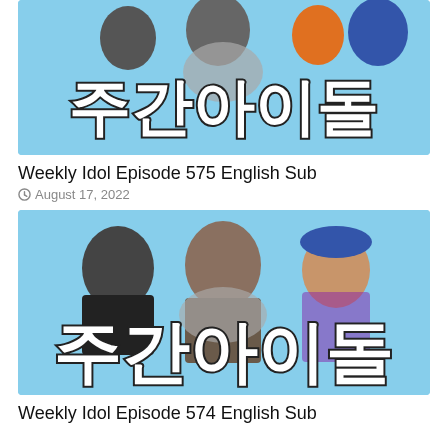[Figure (photo): Weekly Idol show thumbnail with Korean characters (주간아이돌) on light blue background with show hosts]
Weekly Idol Episode 575 English Sub
August 17, 2022
[Figure (photo): Weekly Idol show thumbnail with Korean characters (주간아이돌) on light blue background with three hosts]
Weekly Idol Episode 574 English Sub